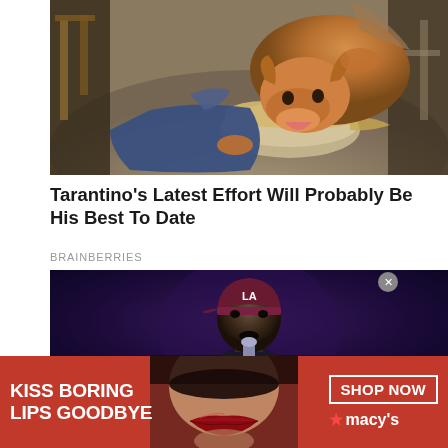[Figure (photo): A person lying on the floor with a brown pit bull dog licking their face, indoor setting with chairs visible]
Tarantino’s Latest Effort Will Probably Be His Best To Date
BRAINBERRIES
[Figure (photo): A Black man wearing a maroon/burgundy LA Dodgers cap speaking into a microphone, dark blue/purple stage background]
[Figure (advertisement): Macy’s red banner ad with text KISS BORING LIPS GOODBYE, a woman with red lipstick in the center, and SHOP NOW button with Macy’s star logo on the right]